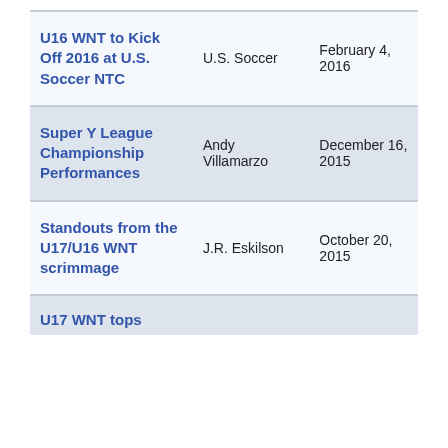| Title | Author | Date |
| --- | --- | --- |
| U16 WNT to Kick Off 2016 at U.S. Soccer NTC | U.S. Soccer | February 4, 2016 |
| Super Y League Championship Performances | Andy Villamarzo | December 16, 2015 |
| Standouts from the U17/U16 WNT scrimmage | J.R. Eskilson | October 20, 2015 |
| U17 WNT tops |  |  |